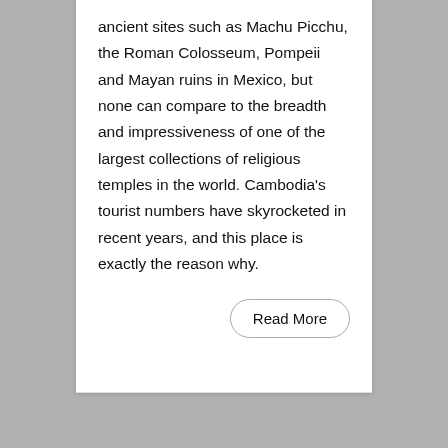ancient sites such as Machu Picchu, the Roman Colosseum, Pompeii and Mayan ruins in Mexico, but none can compare to the breadth and impressiveness of one of the largest collections of religious temples in the world. Cambodia's tourist numbers have skyrocketed in recent years, and this place is exactly the reason why.
Read More